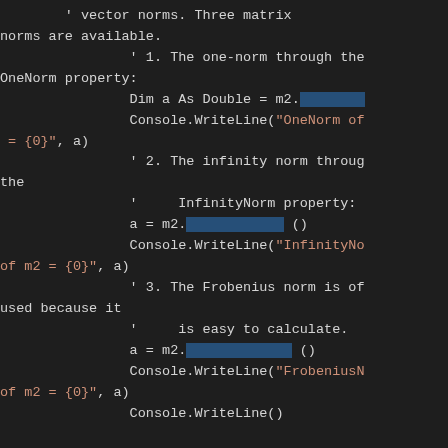[Figure (screenshot): Code editor screenshot showing Visual Basic .NET code demonstrating matrix norms (one-norm, infinity norm, Frobenius norm) and trace operations using monospace font on dark background]